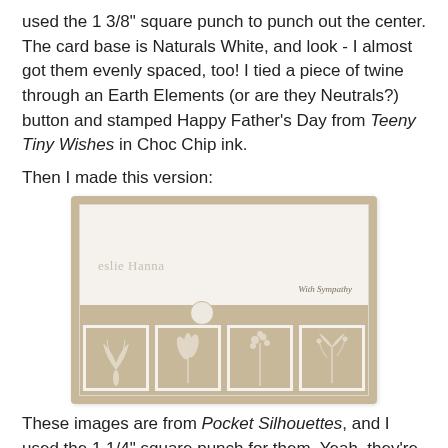used the 1 3/8" square punch to punch out the center. The card base is Naturals White, and look - I almost got them evenly spaced, too! I tied a piece of twine through an Earth Elements (or are they Neutrals?) button and stamped Happy Father's Day from Teeny Tiny Wishes in Choc Chip ink.
Then I made this version:
[Figure (photo): A handmade sympathy card with a tan/kraft card base. The card features a white panel on top with a cursive signature watermark and 'With Sympathy' text in script. A tan ribbon runs horizontally across the middle with a small white flower embellishment. The bottom row shows four square panels with embossed white botanical/floral silhouette designs on a tan background.]
These images are from Pocket Silhouettes, and I used the 1 1/4" square punch for them. Yeah, they're a little crooked. Should I tell you I reattached those squares at least three